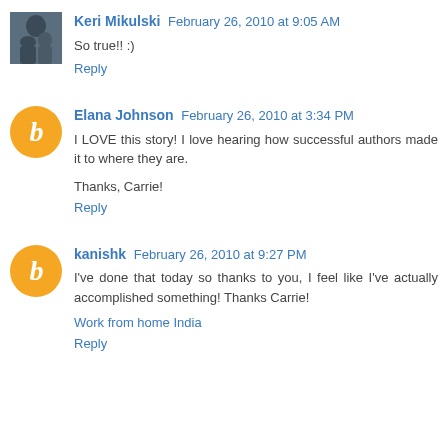Keri Mikulski February 26, 2010 at 9:05 AM
So true!! :)
Reply
Elana Johnson February 26, 2010 at 3:34 PM
I LOVE this story! I love hearing how successful authors made it to where they are.

Thanks, Carrie!
Reply
kanishk February 26, 2010 at 9:27 PM
I've done that today so thanks to you, I feel like I've actually accomplished something! Thanks Carrie!
Work from home India
Reply